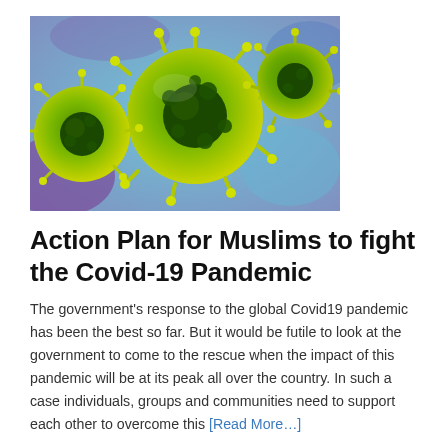[Figure (photo): Microscopic rendering of coronavirus particles with yellow-green spiky spherical shapes against a blue-purple background]
Action Plan for Muslims to fight the Covid-19 Pandemic
The government's response to the global Covid19 pandemic has been the best so far. But it would be futile to look at the government to come to the rescue when the impact of this pandemic will be at its peak all over the country. In such a case individuals, groups and communities need to support each other to overcome this [Read More…]
by Syed Ali Mujtaba  –  12/04/2020  –  Comments are Disabled